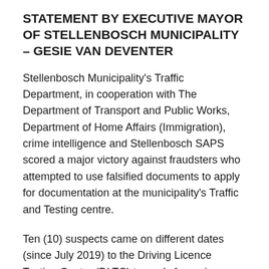STATEMENT BY EXECUTIVE MAYOR OF STELLENBOSCH MUNICIPALITY – GESIE VAN DEVENTER
Stellenbosch Municipality's Traffic Department, in cooperation with The Department of Transport and Public Works, Department of Home Affairs (Immigration), crime intelligence and Stellenbosch SAPS scored a major victory against fraudsters who attempted to use falsified documents to apply for documentation at the municipality's Traffic and Testing centre.
Ten (10) suspects came on different dates (since July 2019) to the Driving Licence Testing Centre (DLTC) to apply for various documents.